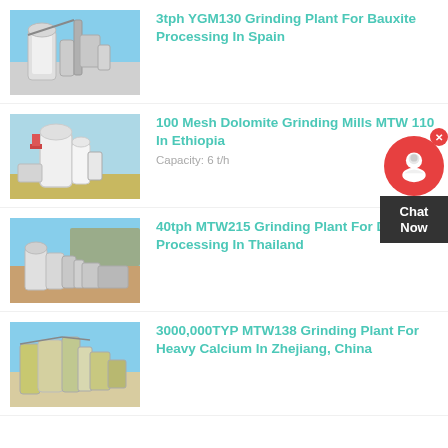[Figure (photo): Industrial grinding plant machinery against blue sky - YGM130]
3tph YGM130 Grinding Plant For Bauxite Processing In Spain
[Figure (photo): White industrial grinding mills in open field - MTW 110]
100 Mesh Dolomite Grinding Mills MTW 110 In Ethiopia
Capacity: 6 t/h
[Figure (photo): Large grinding plant with mountains in background - MTW215]
40tph MTW215 Grinding Plant For Dolomite Processing In Thailand
[Figure (photo): Industrial grinding plant with yellow equipment - MTW138]
3000,000TYP MTW138 Grinding Plant For Heavy Calcium In Zhejiang, China